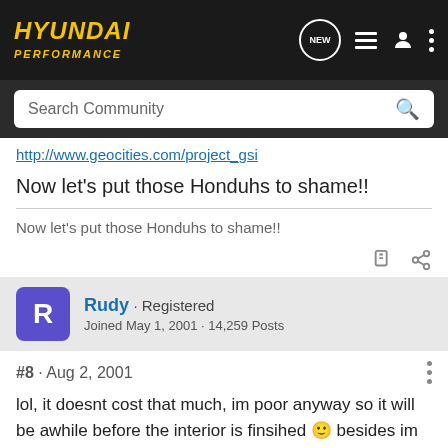HYUNDAI PERFORMANCE
http://www.geocities.com/project_gsi
Now let's put those Honduhs to shame!!
Now let's put those Honduhs to shame!!
Rudy · Registered
Joined May 1, 2001 · 14,259 Posts
#8 · Aug 2, 2001
lol, it doesnt cost that much, im poor anyway so it will be awhile before the interior is finsihed 🙂 besides im selling my seats